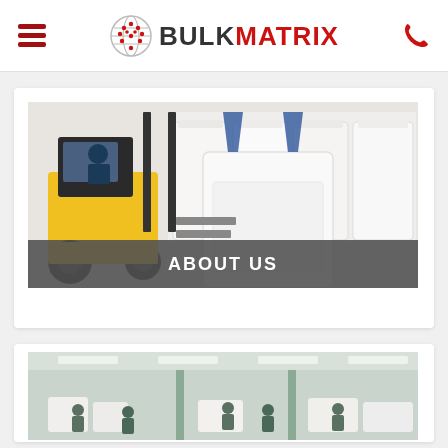BULKMATRIX
[Figure (photo): Forklift carrying a large white bulk bag (FIBC) in a warehouse with rows of white bulk bags stacked in the background, with an ABOUT US banner overlay at the bottom]
ABOUT US
[Figure (photo): Factory/warehouse interior showing workers in a large production hall packing or handling white FIBC bulk bags, with industrial lighting overhead]